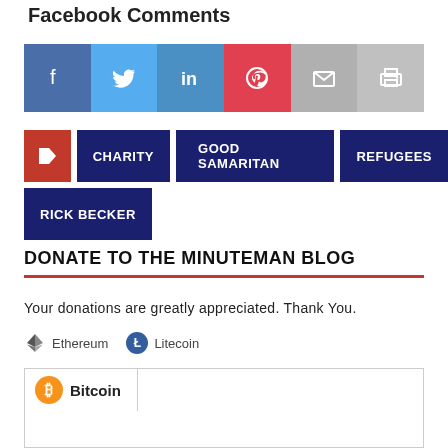Facebook Comments
[Figure (infographic): Social share buttons row: Facebook, Twitter, LinkedIn, Pinterest, Email, Print]
CHARITY
GOOD SAMARITAN
REFUGEES
RICK BECKER
DONATE TO THE MINUTEMAN BLOG
Your donations are greatly appreciated. Thank You.
Ethereum  Litecoin
[Figure (infographic): Bitcoin tab with QR code below for Bitcoin donations]